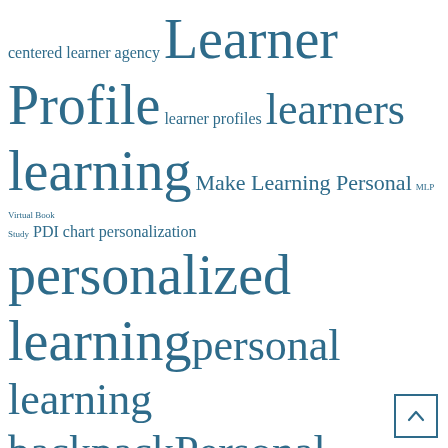[Figure (infographic): Word cloud / tag cloud with education-related terms in various font sizes, all in teal/blue color. Terms include: centered learner agency, Learner Profile, learner profiles, learners, learning, Make Learning Personal, MLP Virtual Book Study, PDI chart, personalization, personalized learning, personal learning backpack, Personal Learning Plan, PLE, professional learning, school culture, self-advocacy, Stages of Personalized Learning Environments, students at the center, teacher-centered, UDL, UDL Lens, UDL Lens of Access Engage and Express]